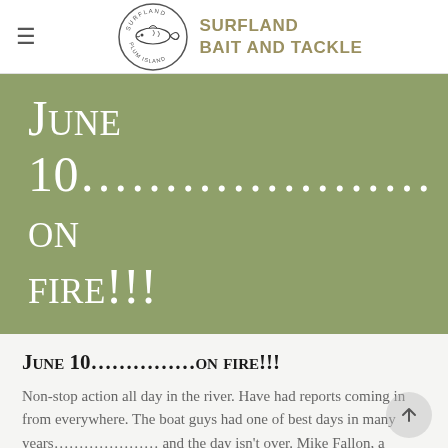Surfland Bait and Tackle
June 10…………………on fire!!!
June 10……………on fire!!!
Non-stop action all day in the river. Have had reports coming in from everywhere. The boat guys had one of best days in many years………………… and the day isn't over. Mike Fallon, a former worker of ours, came in for